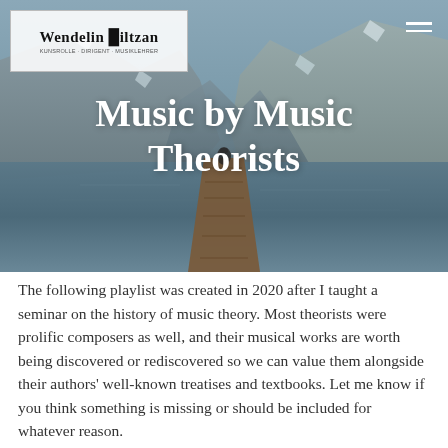[Figure (photo): Hero image of a wooden dock extending into a calm mountain lake, surrounded by steep rocky mountains under a blue-grey sky, with a person sitting at the end of the dock. Overlaid with the title 'Music by Music Theorists' in white serif text.]
Wendelin Bitzan
Music by Music Theorists
The following playlist was created in 2020 after I taught a seminar on the history of music theory. Most theorists were prolific composers as well, and their musical works are worth being discovered or rediscovered so we can value them alongside their authors' well-known treatises and textbooks. Let me know if you think something is missing or should be included for whatever reason.